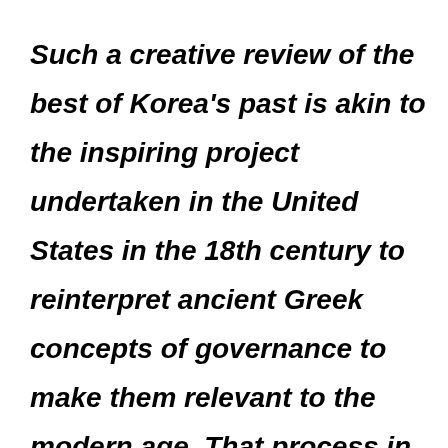Such a creative review of the best of Korea's past is akin to the inspiring project undertaken in the United States in the 18th century to reinterpret ancient Greek concepts of governance to make them relevant to the modern age. That process in the